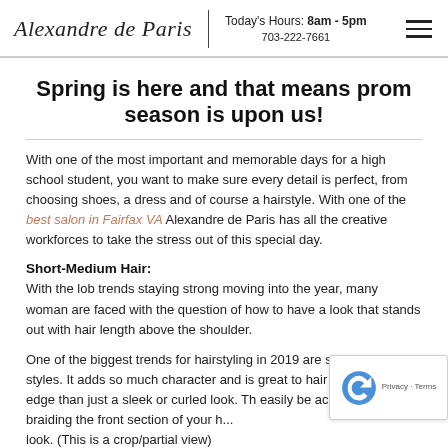Alexandre de Paris | Today's Hours: 8am - 5pm | 703-222-7661
Spring is here and that means prom season is upon us!
With one of the most important and memorable days for a high school student, you want to make sure every detail is perfect, from choosing shoes, a dress and of course a hairstyle. With one of the best salon in Fairfax VA Alexandre de Paris has all the creative workforces to take the stress out of this special day.
Short-Medium Hair:
With the lob trends staying strong moving into the year, many woman are faced with the question of how to have a look that stands out with hair length above the shoulder.
One of the biggest trends for hairstyling in 2019 are short braided styles. It adds so much character and is great to hair a little more edge than just a sleek or curled look. Th easily be achieved by braiding the front section of your h... look. (This is a crop/partial view)